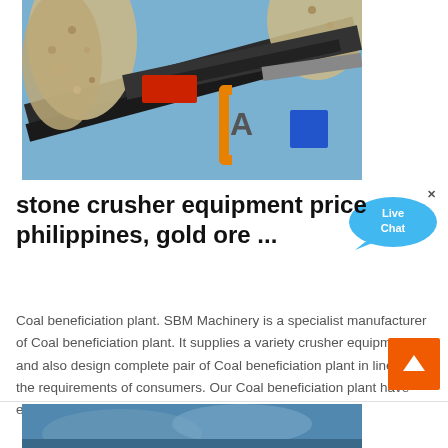[Figure (photo): Industrial stone crushing equipment photographed from below with gravel/stone pieces falling, machinery arms and conveyor visible against blue sky, with an orange and blue angular logo/brand mark overlay on the right side.]
stone crusher equipment price philippines, gold ore ...
Coal beneficiation plant. SBM Machinery is a specialist manufacturer of Coal beneficiation plant. It supplies a variety crusher equipments and also design complete pair of Coal beneficiation plant in line with the requirements of consumers. Our Coal beneficiation plant have exported to numerous countries around the world.
[Figure (photo): Partial view of another industrial equipment or stone crushing machine image at the bottom of the page.]